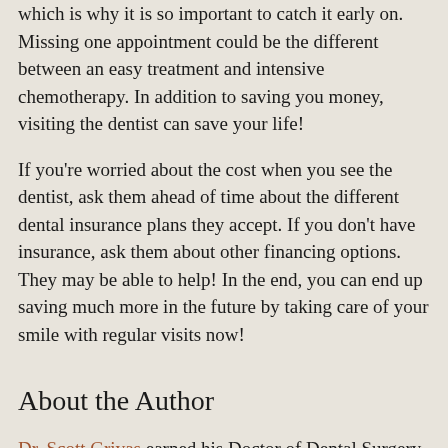which is why it is so important to catch it early on. Missing one appointment could be the different between an easy treatment and intensive chemotherapy. In addition to saving you money, visiting the dentist can save your life!
If you're worried about the cost when you see the dentist, ask them ahead of time about the different dental insurance plans they accept. If you don't have insurance, ask them about other financing options. They may be able to help! In the end, you can end up saving much more in the future by taking care of your smile with regular visits now!
About the Author
Dr. Scott Grivas earned his Doctor of Dental Surgery from the Loma Linda University School of Dentistry and opened up the doors to his practice